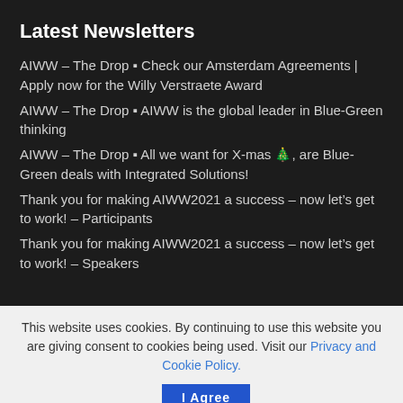Latest Newsletters
AIWW – The Drop 🔹 Check our Amsterdam Agreements | Apply now for the Willy Verstraete Award
AIWW – The Drop 🔹 AIWW is the global leader in Blue-Green thinking
AIWW – The Drop 🔹 All we want for X-mas 🎄, are Blue-Green deals with Integrated Solutions!
Thank you for making AIWW2021 a success – now let's get to work! – Participants
Thank you for making AIWW2021 a success – now let's get to work! – Speakers
This website uses cookies. By continuing to use this website you are giving consent to cookies being used. Visit our Privacy and Cookie Policy.